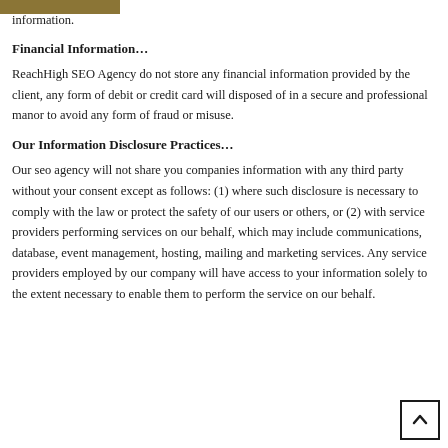information.
Financial Information…
ReachHigh SEO Agency do not store any financial information provided by the client, any form of debit or credit card will disposed of in a secure and professional manor to avoid any form of fraud or misuse.
Our Information Disclosure Practices…
Our seo agency will not share you companies information with any third party without your consent except as follows: (1) where such disclosure is necessary to comply with the law or protect the safety of our users or others, or (2) with service providers performing services on our behalf, which may include communications, database, event management, hosting, mailing and marketing services. Any service providers employed by our company will have access to your information solely to the extent necessary to enable them to perform the service on our behalf.